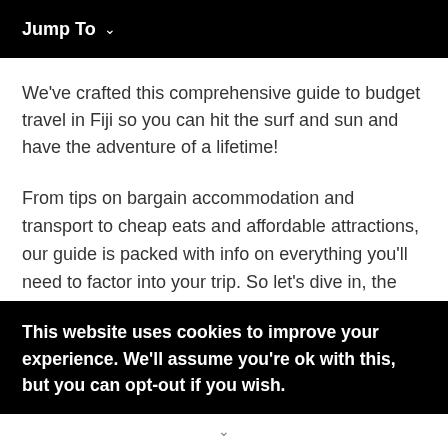Jump To ∨
We've crafted this comprehensive guide to budget travel in Fiji so you can hit the surf and sun and have the adventure of a lifetime!
From tips on bargain accommodation and transport to cheap eats and affordable attractions, our guide is packed with info on everything you'll need to factor into your trip. So let's dive in, the South Pacific awaits...
This website uses cookies to improve your experience. We'll assume you're ok with this, but you can opt-out if you wish.